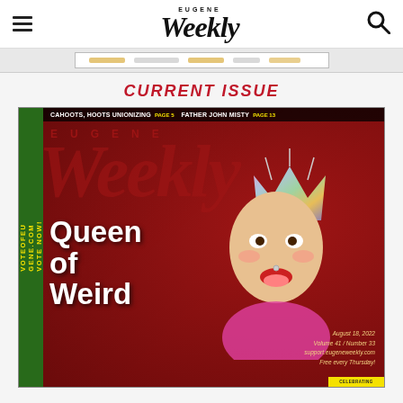Eugene Weekly
[Figure (illustration): Advertisement banner strip]
CURRENT ISSUE
[Figure (photo): Eugene Weekly magazine cover featuring 'Queen of Weird' - a person wearing a colorful paper crown with green hair against a red background. Top bar reads: CAHOOTS, HOOTS UNIONIZING PAGE 5  FATHER JOHN MISTY PAGE 13. Left strip reads: VOTEOFUGENE.COM VOTE NOW! Cover date: August 18, 2022, Volume 41 / Number 33, support.eugeneweekly.com, Free every Thursday!]